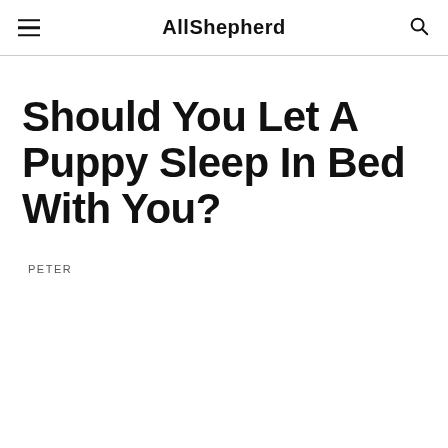AllShepherd
Should You Let A Puppy Sleep In Bed With You?
PETER